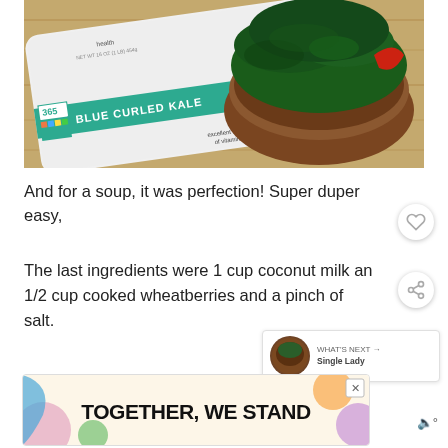[Figure (photo): Bag of 365 Blue Curled Kale frozen product with a wooden bowl filled with fresh kale leaves, placed on a wooden surface]
And for a soup, it was perfection! Super duper easy,
The last ingredients were 1 cup coconut milk and 1/2 cup cooked wheatberries and a pinch of salt.
[Figure (screenshot): WHAT'S NEXT arrow with Single Lady label and thumbnail]
[Figure (screenshot): Advertisement banner: TOGETHER, WE STAND with colorful shapes]